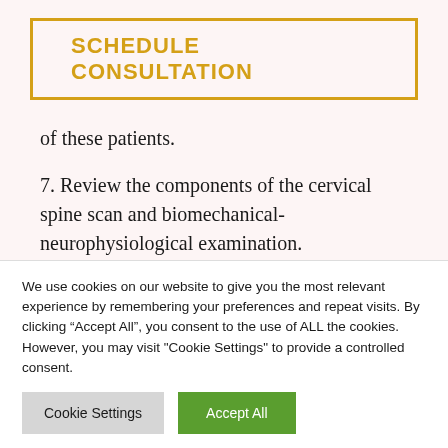SCHEDULE CONSULTATION
of these patients.
7. Review the components of the cervical spine scan and biomechanical-neurophysiological examination.
8. Identify individual all-source evidence-based tests and measures that are relevant to
We use cookies on our website to give you the most relevant experience by remembering your preferences and repeat visits. By clicking “Accept All”, you consent to the use of ALL the cookies. However, you may visit "Cookie Settings" to provide a controlled consent.